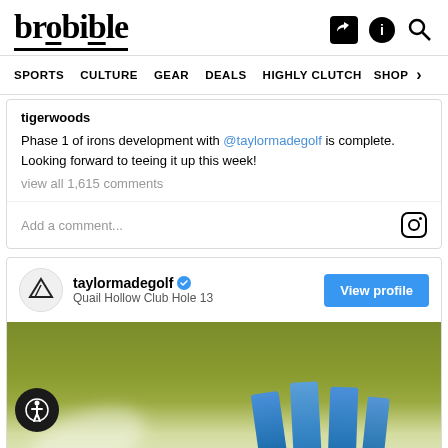brobible
SPORTS  CULTURE  GEAR  DEALS  HIGHLY CLUTCH  SHOP
tigerwoods
Phase 1 of irons development with @taylormadegolf is complete. Looking forward to teeing it up this week!
view all 1,615 comments
Add a comment...
taylormadegolf  Quail Hollow Club Hole 13
[Figure (screenshot): TaylorMade golf Instagram post showing golf clubs at Quail Hollow Club Hole 13]